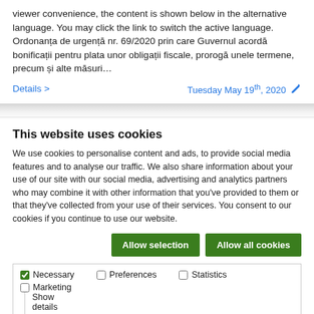viewer convenience, the content is shown below in the alternative language. You may click the link to switch the active language. Ordonanța de urgență nr. 69/2020 prin care Guvernul acordă bonificații pentru plata unor obligații fiscale, prorogă unele termene, precum și alte măsuri…
Details >      Tuesday May 19th, 2020 ✏
This website uses cookies
We use cookies to personalise content and ads, to provide social media features and to analyse our traffic. We also share information about your use of our site with our social media, advertising and analytics partners who may combine it with other information that you've provided to them or that they've collected from your use of their services. You consent to our cookies if you continue to use our website.
Allow selection   Allow all cookies
✓ Necessary  ☐ Preferences  ☐ Statistics  Show details ∨
☐ Marketing